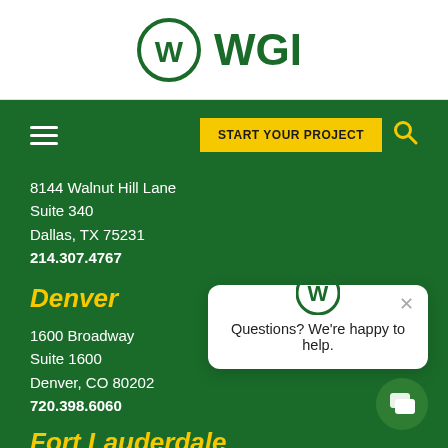[Figure (logo): WGI company logo — circular W emblem with 'WGI' text, green color]
[Figure (screenshot): Navigation bar with hamburger menu, yellow 'START YOUR PROJECT' button, and yellow search icon on green background]
8144 Walnut Hill Lane
Suite 340
Dallas, TX 75231
214.307.4767
Denver
1600 Broadway
Suite 1600
Denver, CO 80202
720.398.6060
[Figure (infographic): Chat popup overlay with WGI logo, close X button, and text: Questions? We're happy to help.]
Fort Lauderdale
3230 W. Commercial Blvd.
Suite 300